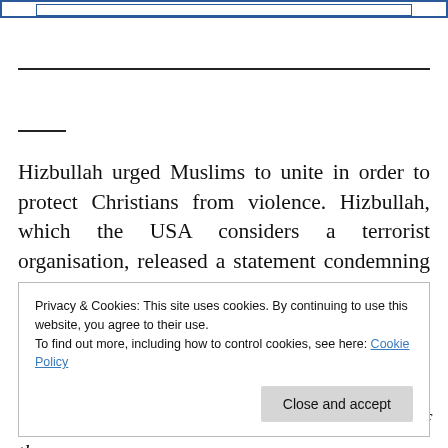[Figure (other): Top navigation bar with inner border rectangle, blue outline]
Hizbullah urged Muslims to unite in order to protect Christians from violence. Hizbullah, which the USA considers a terrorist organisation, released a statement condemning yesterday's terrorist atrocities in Egypt that
Privacy & Cookies: This site uses cookies. By continuing to use this website, you agree to their use.
To find out more, including how to control cookies, see here: Cookie Policy
Close and accept
criminal gangs in the name of religion is one of the